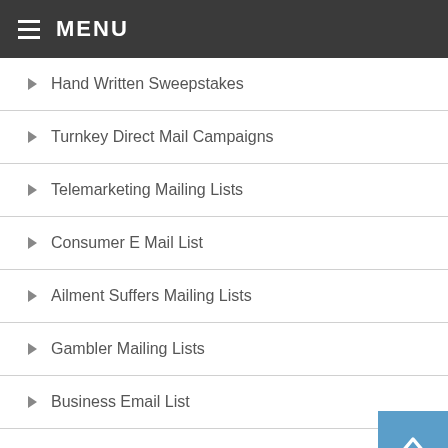MENU
Hand Written Sweepstakes
Turnkey Direct Mail Campaigns
Telemarketing Mailing Lists
Consumer E Mail List
Ailment Suffers Mailing Lists
Gambler Mailing Lists
Business Email List
Cell Phone/SMS Text
Auto After Market Leads